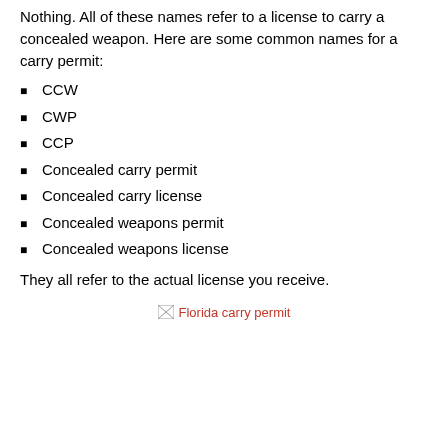Nothing. All of these names refer to a license to carry a concealed weapon. Here are some common names for a carry permit:
CCW
CWP
CCP
Concealed carry permit
Concealed carry license
Concealed weapons permit
Concealed weapons license
They all refer to the actual license you receive.
[Figure (photo): Broken image placeholder labeled 'Florida carry permit']